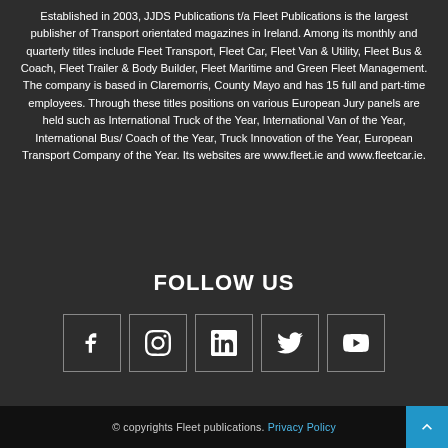Established in 2003, JJDS Publications t/a Fleet Publications is the largest publisher of Transport orientated magazines in Ireland. Among its monthly and quarterly titles include Fleet Transport, Fleet Car, Fleet Van & Utility, Fleet Bus & Coach, Fleet Trailer & Body Builder, Fleet Maritime and Green Fleet Management. The company is based in Claremorris, County Mayo and has 15 full and part-time employees. Through these titles positions on various European Jury panels are held such as International Truck of the Year, International Van of the Year, International Bus/ Coach of the Year, Truck Innovation of the Year, European Transport Company of the Year. Its websites are www.fleet.ie and www.fleetcar.ie.
FOLLOW US
[Figure (infographic): Five social media icon boxes in a row: Facebook (f), Instagram (camera), LinkedIn (in), Twitter (bird), YouTube (play button)]
© copyrights Fleet publications. Privacy Policy